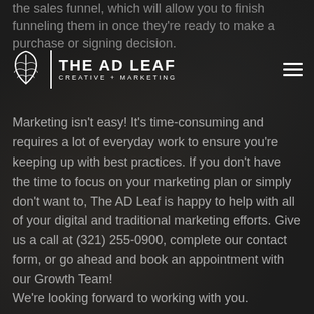THE AD LEAF
CREATIVE + MARKETING
the sales funnel, which will allow you to finish funneling them in once they're ready to make a purchase or signing decision.
Marketing isn't easy! It's time-consuming and requires a lot of everyday work to ensure you're keeping up with best practices. If you don't have the time to focus on your marketing plan or simply don't want to, The AD Leaf is happy to help with all of your digital and traditional marketing efforts. Give us a call at (321) 255-0900, complete our contact form, or go ahead and book an appointment with our Growth Team!
We're looking forward to working with you.